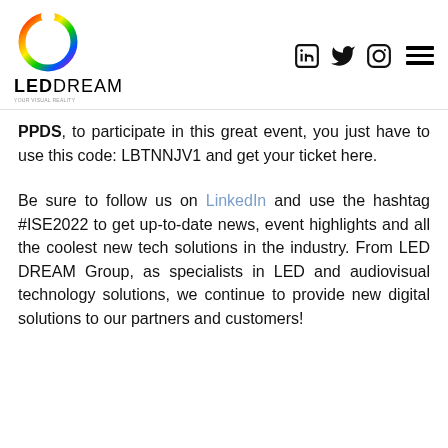[Figure (logo): LED DREAM logo with rainbow circle and brand name]
PPDS, to participate in this great event, you just have to use this code: LBTNNJV1 and get your ticket here.
Be sure to follow us on LinkedIn and use the hashtag #ISE2022 to get up-to-date news, event highlights and all the coolest new tech solutions in the industry. From LED DREAM Group, as specialists in LED and audiovisual technology solutions, we continue to provide new digital solutions to our partners and customers!